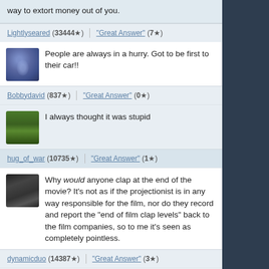way to extort money out of you.
Lightlyseared (33444★)  "Great Answer" (7★)
People are always in a hurry. Got to be first to their car!!
Bobbydavid (837★)  "Great Answer" (0★)
I always thought it was stupid
hug_of_war (10735★)  "Great Answer" (1★)
Why would anyone clap at the end of the movie? It's not as if the projectionist is in any way responsible for the film, nor do they record and report the "end of film clap levels" back to the film companies, so to me it's seen as completely pointless.
dynamicduo (14387★)  "Great Answer" (3★)